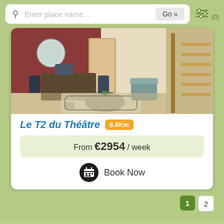Enter place name... Go » (0)
[Figure (photo): Interior photo of a living/dining room with red wall, round mirror, dining table with chairs, a black coffee table on a rug, a teal armchair, and wooden stairs on the right]
Le T2 du Théâtre 6.8Km
From €2954 / week
Book Now
1 2
© 2002-2022 chambresdhotes.org. E-Reserve Ltd
Add - Privacy Policy - Terms of Service